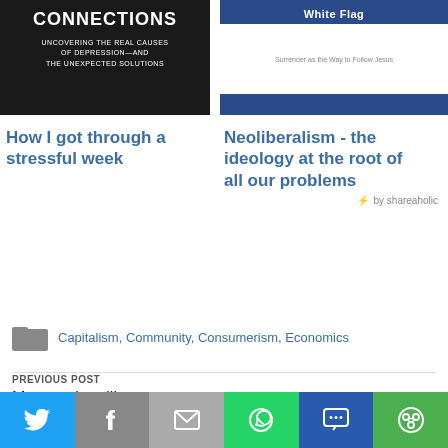[Figure (photo): Book cover with dark background, text reading CONNECTIONS, UNCOVERING THE REAL CAUSES OF DEPRESSION—AND THE UNEXPECTED SOLUTIONS]
[Figure (photo): Book cover with blue banner at top, white section reading White Flag, Surrender as the Way to Follow Jesus]
How I got through a stressful week
Neoliberalism - the ideology at the root of all our problems
by shareaholic
Capitalism, Community, Consumerism, Economics
PREVIOUS POST
More on humility
[Figure (infographic): Social sharing bar with Twitter, Facebook, Email, WhatsApp, SMS, and More buttons]